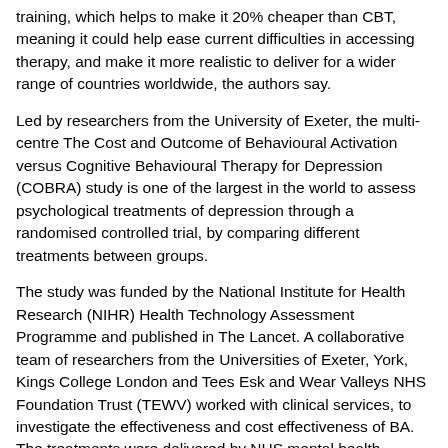training, which helps to make it 20% cheaper than CBT, meaning it could help ease current difficulties in accessing therapy, and make it more realistic to deliver for a wider range of countries worldwide, the authors say.
Led by researchers from the University of Exeter, the multi-centre The Cost and Outcome of Behavioural Activation versus Cognitive Behavioural Therapy for Depression (COBRA) study is one of the largest in the world to assess psychological treatments of depression through a randomised controlled trial, by comparing different treatments between groups.
The study was funded by the National Institute for Health Research (NIHR) Health Technology Assessment Programme and published in The Lancet. A collaborative team of researchers from the Universities of Exeter, York, Kings College London and Tees Esk and Wear Valleys NHS Foundation Trust (TEWV) worked with clinical services, to investigate the effectiveness and cost effectiveness of BA. The treatments were delivered by NHS mental health workers and therapists in NHS mental health trusts in Devon (Devon Partnership NHS Trust), County Durham (TEWV) and Leeds (Leeds and York Partnership NHS Foundation Trust).
Professor David Richards, NIHR senior investigator at the University